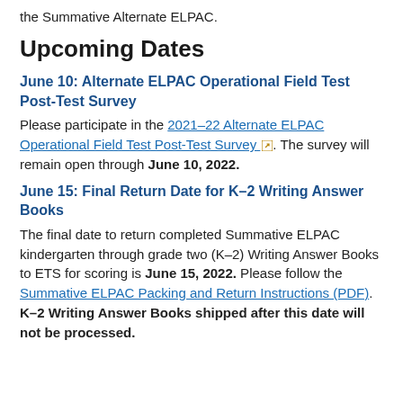the Summative Alternate ELPAC.
Upcoming Dates
June 10: Alternate ELPAC Operational Field Test Post-Test Survey
Please participate in the 2021–22 Alternate ELPAC Operational Field Test Post-Test Survey [link]. The survey will remain open through June 10, 2022.
June 15: Final Return Date for K–2 Writing Answer Books
The final date to return completed Summative ELPAC kindergarten through grade two (K–2) Writing Answer Books to ETS for scoring is June 15, 2022. Please follow the Summative ELPAC Packing and Return Instructions (PDF) [link]. K–2 Writing Answer Books shipped after this date will not be processed.